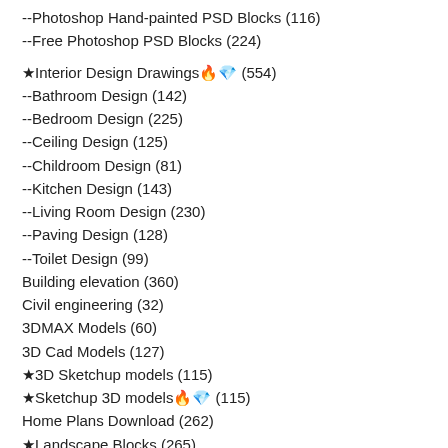--Photoshop Hand-painted PSD Blocks (116)
--Free Photoshop PSD Blocks (224)
★Interior Design Drawings🔥💎 (554)
--Bathroom Design (142)
--Bedroom Design (225)
--Ceiling Design (125)
--Childroom Design (81)
--Kitchen Design (143)
--Living Room Design (230)
--Paving Design (128)
--Toilet Design (99)
Building elevation (360)
Civil engineering (32)
3DMAX Models (60)
3D Cad Models (127)
★3D Sketchup models (115)
★Sketchup 3D models🔥💎 (115)
Home Plans Download (262)
★Landscape Blocks (265)